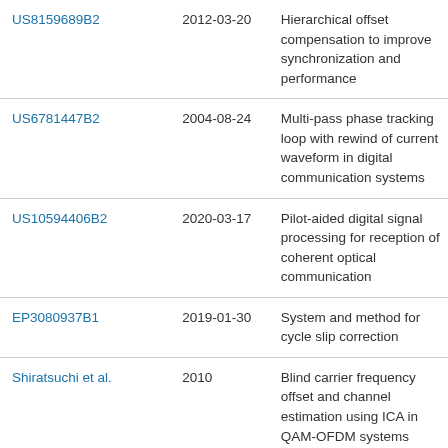| Reference | Date | Description |
| --- | --- | --- |
| US8159689B2 | 2012-03-20 | Hierarchical offset compensation to improve synchronization and performance |
| US6781447B2 | 2004-08-24 | Multi-pass phase tracking loop with rewind of current waveform in digital communication systems |
| US10594406B2 | 2020-03-17 | Pilot-aided digital signal processing for reception of coherent optical communication |
| EP3080937B1 | 2019-01-30 | System and method for cycle slip correction |
| Shiratsuchi et al. | 2010 | Blind carrier frequency offset and channel estimation using ICA in QAM-OFDM systems |
| US20210392019A1 | 2021-12-16 | Device and method for improved demodulation of multiple modulation |